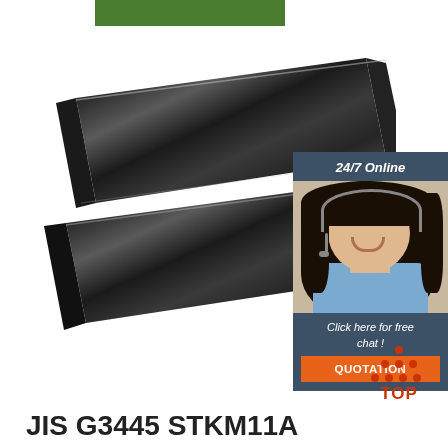[Figure (illustration): Green horizontal banner bar at top of page, partially visible]
[Figure (photo): Two dark steel flat bar plates stacked, showing rough oxidized surface texture, photographed at an angle against white background]
[Figure (infographic): Overlay chat widget showing '24/7 Online' heading, customer service representative with headset, 'Click here for free chat!' text, and orange QUOTATION button]
[Figure (logo): TOP icon with orange triangle/house shape made of dots above the word TOP in orange/red letters]
JIS G3445 STKM11A